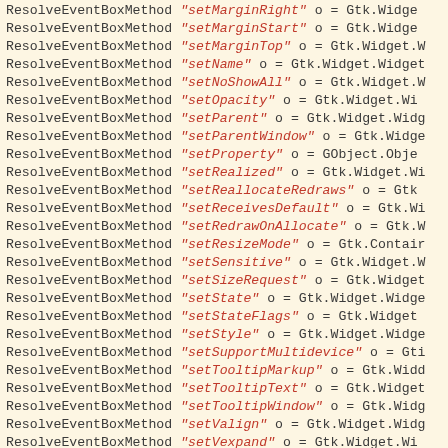[Figure (screenshot): Code listing showing ResolveEventBoxMethod calls with string method names mapped to Gtk/GObject widget methods, displayed in monospace font on a cream background. Black function names and red/brown italic string literals.]